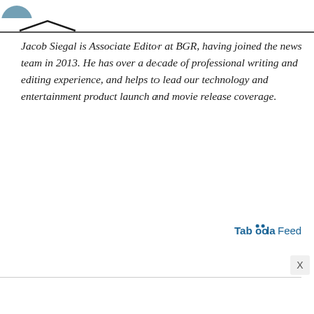[Figure (other): Partial logo or avatar image in the top-left corner, partially cut off]
Jacob Siegal is Associate Editor at BGR, having joined the news team in 2013. He has over a decade of professional writing and editing experience, and helps to lead our technology and entertainment product launch and movie release coverage.
[Figure (logo): Taboola Feed logo on the right side]